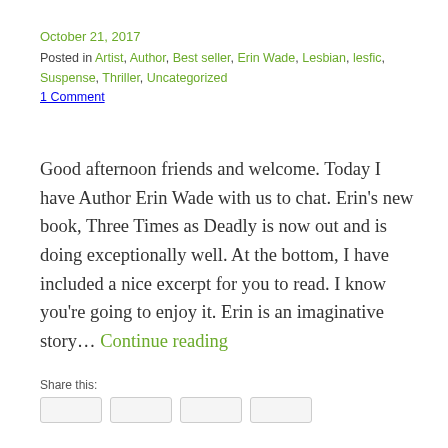October 21, 2017
Posted in Artist, Author, Best seller, Erin Wade, Lesbian, lesfic, Suspense, Thriller, Uncategorized
1 Comment
Good afternoon friends and welcome. Today I have Author Erin Wade with us to chat. Erin's new book, Three Times as Deadly is now out and is doing exceptionally well. At the bottom, I have included a nice excerpt for you to read. I know you're going to enjoy it. Erin is an imaginative story… Continue reading
Share this: